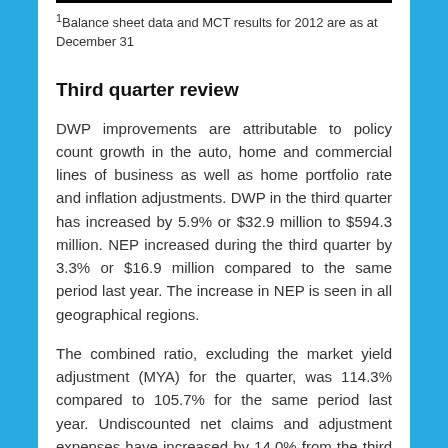1Balance sheet data and MCT results for 2012 are as at December 31
Third quarter review
DWP improvements are attributable to policy count growth in the auto, home and commercial lines of business as well as home portfolio rate and inflation adjustments. DWP in the third quarter has increased by 5.9% or $32.9 million to $594.3 million. NEP increased during the third quarter by 3.3% or $16.9 million compared to the same period last year. The increase in NEP is seen in all geographical regions.
The combined ratio, excluding the market yield adjustment (MYA) for the quarter, was 114.3% compared to 105.7% for the same period last year. Undiscounted net claims and adjustment expenses have increased by 14.0% from the third quarter 2012, bringing the loss ratio to